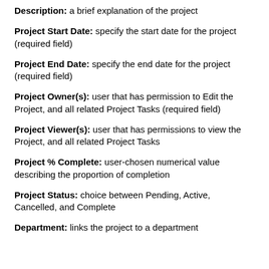Description: a brief explanation of the project
Project Start Date: specify the start date for the project (required field)
Project End Date: specify the end date for the project (required field)
Project Owner(s): user that has permission to Edit the Project, and all related Project Tasks (required field)
Project Viewer(s): user that has permissions to view the Project, and all related Project Tasks
Project % Complete: user-chosen numerical value describing the proportion of completion
Project Status: choice between Pending, Active, Cancelled, and Complete
Department: links the project to a department